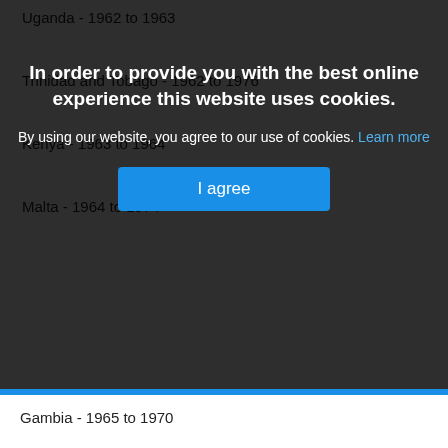Uganda - 1962 to 1963
Trinidad and Tobago - ...
Kenya - 1963 to 1964
Malta - 1964 to 1974
Gambia - 1965 to 1970
Guyana - 1966 to 1970
Mauritius - 1968 to 1992
Fiji - 1970 to 1987
Current
Canada, through the Statute of Westminster in 1931
Australia, through adoption of the Statute of Westminster in 1942 (retroactive to 1939)